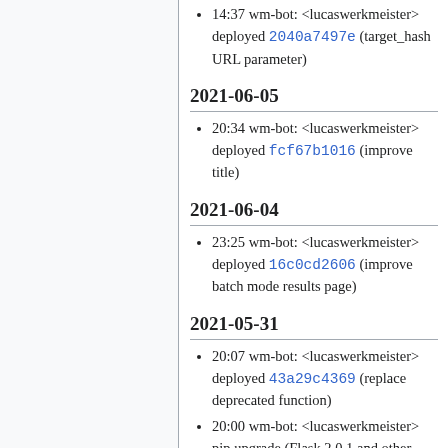14:37 wm-bot: <lucaswerkmeister> deployed 2040a7497e (target_hash URL parameter)
2021-06-05
20:34 wm-bot: <lucaswerkmeister> deployed fcf67b1016 (improve title)
2021-06-04
23:25 wm-bot: <lucaswerkmeister> deployed 16c0cd2606 (improve batch mode results page)
2021-05-31
20:07 wm-bot: <lucaswerkmeister> deployed 43a29c4369 (replace deprecated function)
20:00 wm-bot: <lucaswerkmeister> pip upgrade (Flask 2.0.1 and other